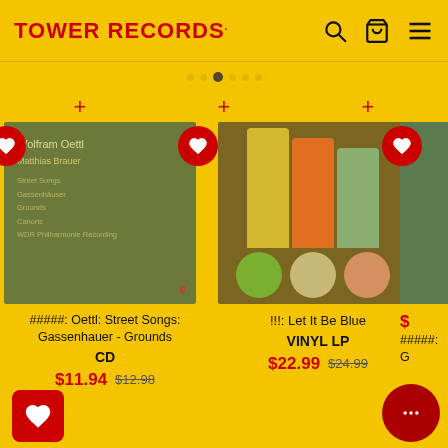TOWER RECORDS
[Figure (photo): Album cover for Wolfram Oettl / Matthias Brauer - Street Songs: Gassenhauer - Grounds, dark olive/green background with text]
#####: Oettl: Street Songs: Gassenhauer - Grounds
CD
$11.94  $12.98
[Figure (photo): Album cover for !!!: Let It Be Blue - colorful vertical bars (yellow, orange, green) with circles below on brown background]
!!!: Let It Be Blue
VINYL LP
$22.99  $24.99
#####:G